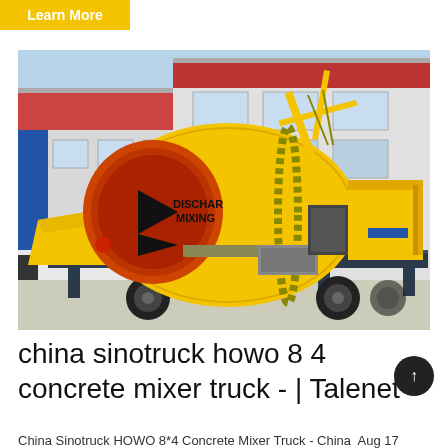Learn More
[Figure (photo): A yellow concrete mixer pump truck (HOWO 8×4 type) parked outside an industrial building. The mixer drum is yellow with 'DISCHAR MIXING' text and a play-button arrow. The machine sits on a dark blue/grey steel frame with rubber wheels. Background shows a modern factory building.]
china sinotruck howo 8 4 concrete mixer truck - | Talenet
China Sinotruck HOWO 8*4 Concrete Mixer Truck - China  Aug 17